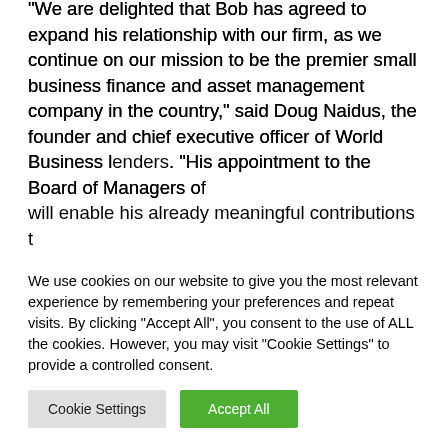“We are delighted that Bob has agreed to expand his relationship with our firm, as we continue on our mission to be the premier small business finance and asset management company in the country,” said Doug Naidus, the founder and chief executive officer of World Business [l]enders. “His appointment to the Board of Managers o[f] [WBL] will enable his already meaningful contributions t[o reson]ate further throughout the organization, both [inter]nally as well as externally,” continued Naidus.
“[I am] very enthusiastic about deepening my involveme[nt…]
We use cookies on our website to give you the most relevant experience by remembering your preferences and repeat visits. By clicking “Accept All”, you consent to the use of ALL the cookies. However, you may visit “Cookie Settings” to provide a controlled consent.
Cookie Settings
Accept All